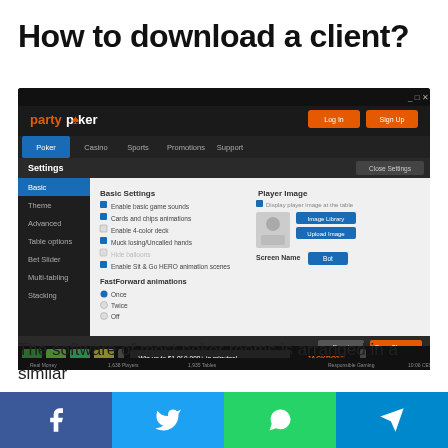How to download a client?
[Figure (screenshot): Screenshot of the PartyPoker desktop client showing the Settings panel with Basic Settings options and Player Image section, including FastForward animations controls. The interface has a dark theme with navigation tabs for Poker, Casino, Sports, Promotions, Support and orange Log In / Sign Up buttons.]
The software of most poker rooms is arranged in a similar